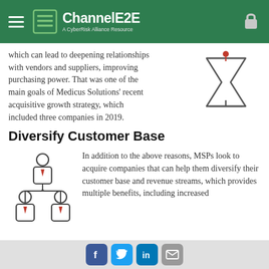ChannelE2E — A CyberRisk Alliance Resource
which can lead to deepening relationships with vendors and suppliers, improving purchasing power. That was one of the main goals of Medicus Solutions' recent acquisitive growth strategy, which included three companies in 2019.
[Figure (illustration): Hourglass icon with a red/orange marker on top, line-art style]
Diversify Customer Base
[Figure (illustration): Two-level hierarchy of person icons with red tie/badge markers, representing manager and two subordinates, line-art style]
In addition to the above reasons, MSPs look to acquire companies that can help them diversify their customer base and revenue streams, which provides multiple benefits, including increased
Social share buttons: Facebook, Twitter, LinkedIn, Email